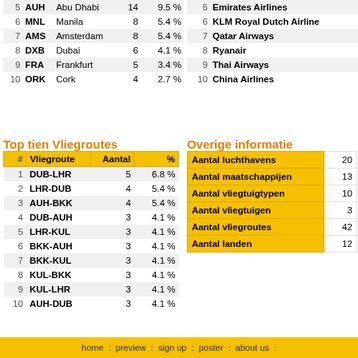| # | Code | City | Aantal | % |
| --- | --- | --- | --- | --- |
| 5 | AUH | Abu Dhabi | 14 | 9.5 % |
| 6 | MNL | Manila | 8 | 5.4 % |
| 7 | AMS | Amsterdam | 8 | 5.4 % |
| 8 | DXB | Dubai | 6 | 4.1 % |
| 9 | FRA | Frankfurt | 5 | 3.4 % |
| 10 | ORK | Cork | 4 | 2.7 % |
| # | Airline |
| --- | --- |
| 5 | Emirates Airlines |
| 6 | KLM Royal Dutch Airlines |
| 7 | Qatar Airways |
| 8 | Ryanair |
| 9 | Thai Airways |
| 10 | China Airlines |
Top tien Vliegroutes
| # | Vliegroute | Aantal | % |
| --- | --- | --- | --- |
| 1 | DUB-LHR | 5 | 6.8 % |
| 2 | LHR-DUB | 4 | 5.4 % |
| 3 | AUH-BKK | 4 | 5.4 % |
| 4 | DUB-AUH | 3 | 4.1 % |
| 5 | LHR-KUL | 3 | 4.1 % |
| 6 | BKK-AUH | 3 | 4.1 % |
| 7 | BKK-KUL | 3 | 4.1 % |
| 8 | KUL-BKK | 3 | 4.1 % |
| 9 | KUL-LHR | 3 | 4.1 % |
| 10 | AUH-DUB | 3 | 4.1 % |
Overige informatie
| Label | Waarde |
| --- | --- |
| Aantal luchthavens | 20 |
| Aantal maatschappijen | 13 |
| Aantal vliegtuigtypen | 10 |
| Aantal vliegtuigen | 3 |
| Aantal vliegroutes | 42 |
| Aantal landen | 12 |
home : preview : sign up : poster : about us :